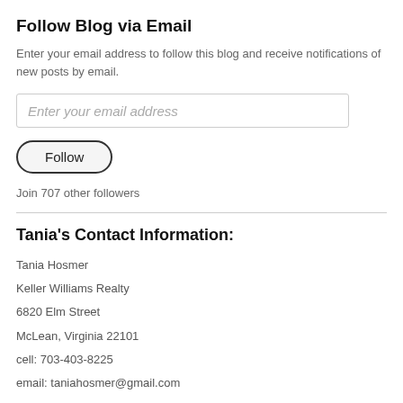Follow Blog via Email
Enter your email address to follow this blog and receive notifications of new posts by email.
Enter your email address
Follow
Join 707 other followers
Tania's Contact Information:
Tania Hosmer
Keller Williams Realty
6820 Elm Street
McLean, Virginia 22101
cell: 703-403-8225
email: taniahosmer@gmail.com